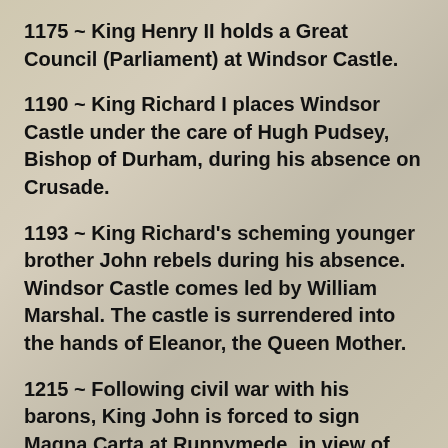1175 ~ King Henry II holds a Great Council (Parliament) at Windsor Castle.
1190 ~ King Richard I places Windsor Castle under the care of Hugh Pudsey, Bishop of Durham, during his absence on Crusade.
1193 ~ King Richard's scheming younger brother John rebels during his absence. Windsor Castle comes led by William Marshal. The castle is surrendered into the hands of Eleanor, the Queen Mother.
1215 ~ Following civil war with his barons, King John is forced to sign Magna Carta at Runnymede, in view of Windsor Castle. Later in